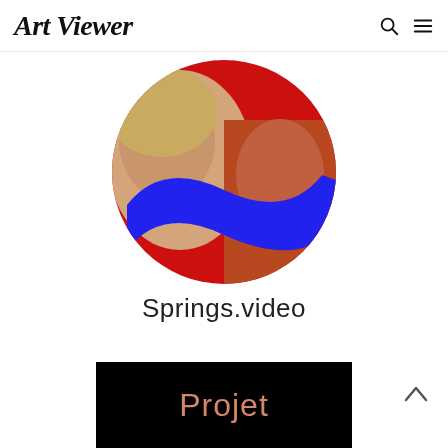Art Viewer
[Figure (photo): Circular cropped photo showing two people's faces with a bold blue S-shaped stripe overlaid on a red background. Left side shows a woman with blonde hair, right side shows a man, all within a circle.]
Springs.video
[Figure (photo): Black rectangle with the word 'Projet' written in a salmon/terracotta color, partial view of a larger image.]